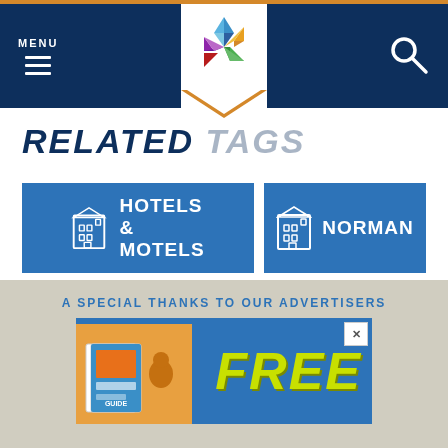MENU (navigation bar with hamburger menu and search icon)
RELATED TAGS
HOTELS & MOTELS
NORMAN
PET FRIENDLY
A SPECIAL THANKS TO OUR ADVERTISERS
[Figure (other): Advertisement banner showing FREE text in yellow-green with a travel guide book image on blue background]